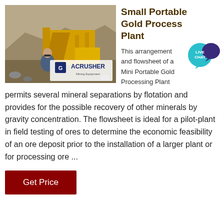[Figure (photo): Outdoor photo of a portable gold processing plant (yellow machinery/conveyor) at a mine site with rocky hills in background, man in foreground wearing sunglasses and blue shirt, Acrusher Mining Equipment logo overlay]
Small Portable Gold Process Plant
This arrangement and flowsheet of a Mini Portable Gold Processing Plant permits several mineral separations by flotation and provides for the possible recovery of other minerals by gravity concentration. The flowsheet is ideal for a pilot-plant in field testing of ores to determine the economic feasibility of an ore deposit prior to the installation of a larger plant or for processing ore ...
Get Price